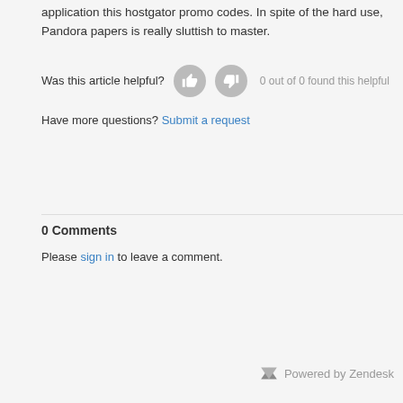application this hostgator promo codes. In spite of the hard use, Pandora papers is really sluttish to master.
Was this article helpful? 0 out of 0 found this helpful
Have more questions? Submit a request
0 Comments
Please sign in to leave a comment.
Powered by Zendesk